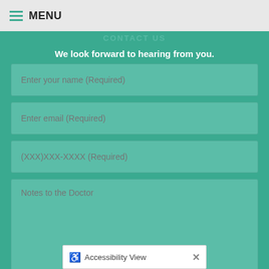MENU
We look forward to hearing from you.
Enter your name (Required)
Enter email (Required)
(XXX)XXX-XXXX (Required)
Notes to the Doctor
Please do not submit any Protected Health Information (PHI).
Accessibility View